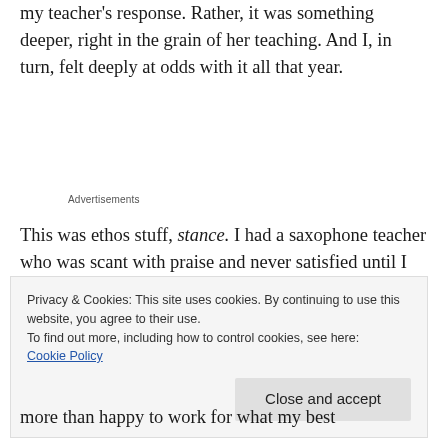my teacher's response. Rather, it was something deeper, right in the grain of her teaching. And I, in turn, felt deeply at odds with it all that year.
Advertisements
This was ethos stuff, stance. I had a saxophone teacher who was scant with praise and never satisfied until I had practised and practised
Privacy & Cookies: This site uses cookies. By continuing to use this website, you agree to their use.
To find out more, including how to control cookies, see here:
Cookie Policy
Close and accept
more than happy to work for what my best